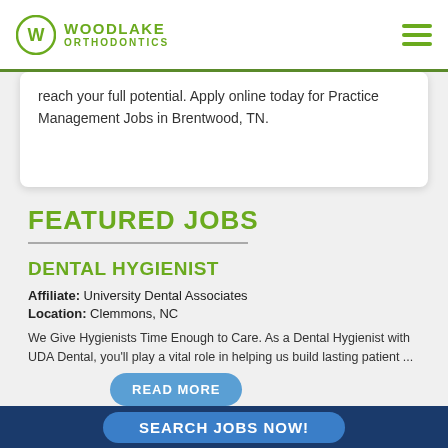Woodlake Orthodontics
reach your full potential. Apply online today for Practice Management Jobs in Brentwood, TN.
FEATURED JOBS
DENTAL HYGIENIST
Affiliate: University Dental Associates
Location: Clemmons, NC
We Give Hygienists Time Enough to Care. As a Dental Hygienist with UDA Dental, you'll play a vital role in helping us build lasting patient ...
READ MORE
SEARCH JOBS NOW!